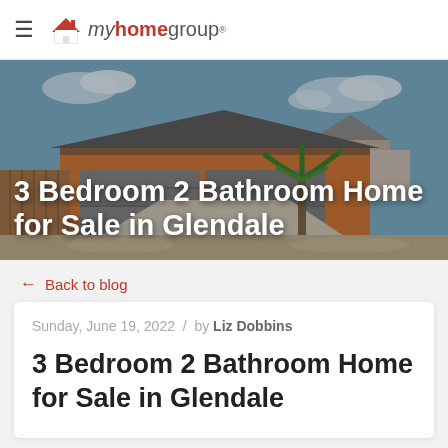myhomegroup
[Figure (photo): Exterior photo of a single-story home with orange/tan stucco walls, gray roof, two-car garage, desert landscaping with palm trees, and blue sky. Hero banner image with overlay title text: 3 Bedroom 2 Bathroom Home for Sale in Glendale]
3 Bedroom 2 Bathroom Home for Sale in Glendale
← Back to blog
Sunday, June 19, 2022 / by Liz Dobbins
3 Bedroom 2 Bathroom Home for Sale in Glendale